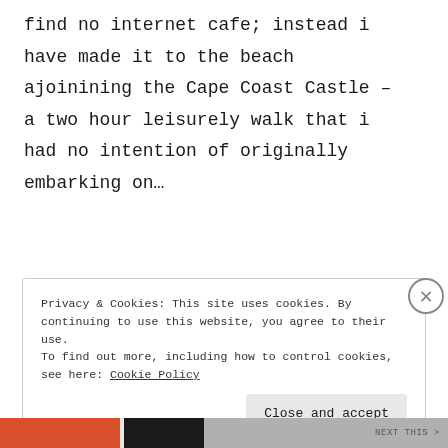find no internet cafe; instead i have made it to the beach ajoinining the Cape Coast Castle – a two hour leisurely walk that i had no intention of originally embarking on…
Privacy & Cookies: This site uses cookies. By continuing to use this website, you agree to their use.
To find out more, including how to control cookies, see here: Cookie Policy

Close and accept